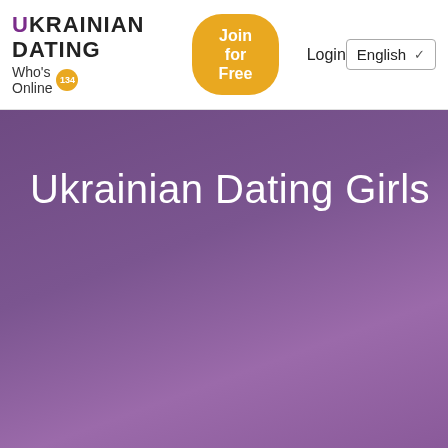UKRAINIAN DATING Who's Online 134 Join for Free Login English
Ukrainian Dating Girls